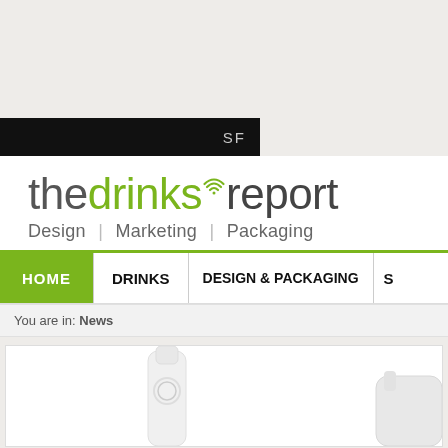[Figure (logo): The Drinks Report logo with wifi symbol, tagline: Design | Marketing | Packaging]
SF
HOME | DRINKS | DESIGN & PACKAGING | S...
You are in: News
[Figure (photo): White bottle(s) on white background inside article card]